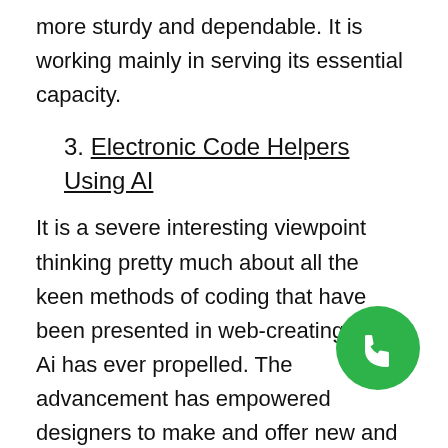more sturdy and dependable. It is working mainly in serving its essential capacity.
3. Electronic Code Helpers Using AI
It is a severe interesting viewpoint thinking pretty much about all the keen methods of coding that have been presented in web-creating since Ai has ever propelled. The advancement has empowered designers to make and offer new and imaginative creating arrangements. Creative coding arrangements are such applications that can give the best recommendations to designers while they are coding, helping them in finishing the errand much efficiently and on schedule. Such application examinations code on the web and
[Figure (illustration): Green circular phone/call button icon in the lower right area of the page]